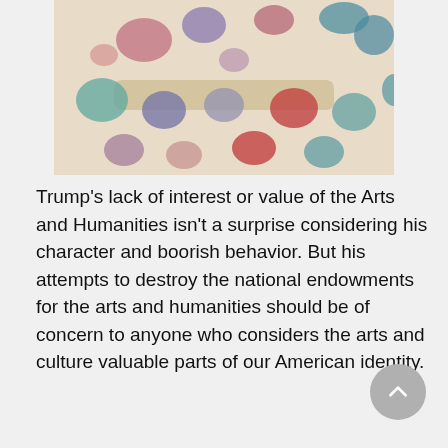[Figure (illustration): Abstract watercolor painting with colorful rounded shapes (teal, purple, red, pink, blue) scattered on a light beige/cream background]
Trump's lack of interest or value of the Arts and Humanities isn't a surprise considering his character and boorish behavior. But his attempts to destroy the national endowments for the arts and humanities should be of concern to anyone who considers the arts and culture valuable parts of our American identity.